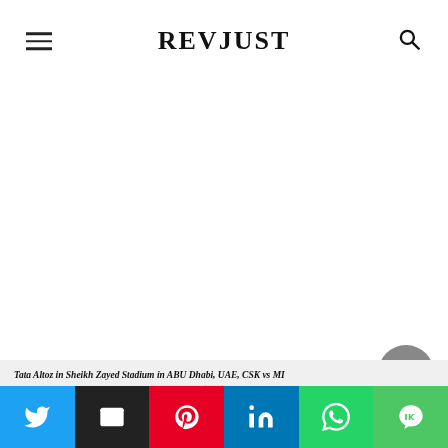REVJUST
[Figure (photo): Blank white image area representing an embedded photo of Tata Altoz in Sheikh Zayed Stadium in ABU Dhabi, UAE, CSK vs MI]
Tata Altoz in Sheikh Zayed Stadium in ABU Dhabi, UAE, CSK vs MI
Advertisement
[Figure (other): Scroll-to-top circular button with upward triangle arrow]
[Figure (infographic): Social share buttons bar: Twitter, Email, Pinterest, LinkedIn, WhatsApp, LINE]